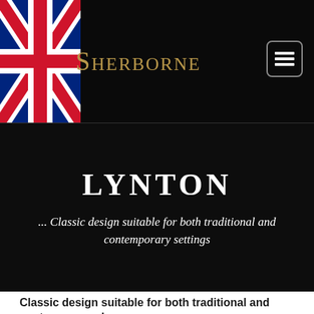[Figure (illustration): UK Union Jack flag waving, partially visible in top-left corner of black header bar]
Sherborne
[Figure (other): Hamburger menu button icon (three horizontal lines) inside a rounded rectangle border, white on black background]
LYNTON
... Classic design suitable for both traditional and contemporary settings
Classic design suitable for both traditional and contemporary deep-